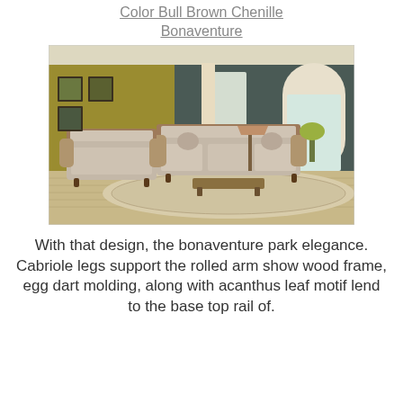Color Bull Brown Chenille Bonaventure
[Figure (photo): Living room scene showing a classic traditional sofa set with tufted backs, rolled arms, and carved wooden frames in a neutral chenille fabric, arranged on a rug in a room with olive and dark teal walls, arched window, and hardwood floors.]
With that design, the bonaventure park elegance. Cabriole legs support the rolled arm show wood frame, egg dart molding, along with acanthus leaf motif lend to the base top rail of.